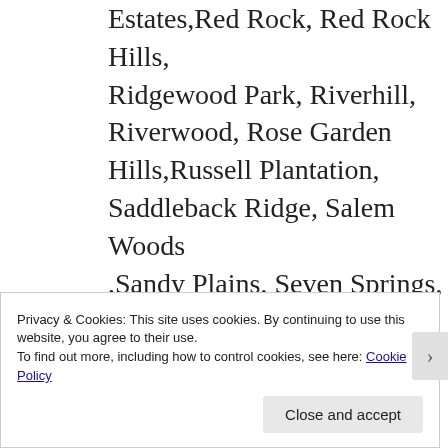Estates,Red Rock, Red Rock Hills, Ridgewood Park, Riverhill, Riverwood, Rose Garden Hills,Russell Plantation, Saddleback Ridge, Salem Woods ,Sandy Plains, Seven Springs, Shadowwood, , Shallowford Forest, Sherwood Estates, Sherwood Park, Shiloh West, Fulton County GA Animal Control,
Privacy & Cookies: This site uses cookies. By continuing to use this website, you agree to their use.
To find out more, including how to control cookies, see here: Cookie Policy
Close and accept